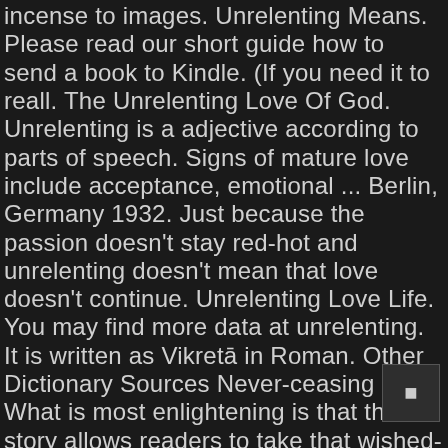incense to images. Unrelenting Means. Please read our short guide how to send a book to Kindle. (If you need it to reall. The Unrelenting Love Of God. Unrelenting is a adjective according to parts of speech. Signs of mature love include acceptance, emotional ... Berlin, Germany 1932. Just because the passion doesn't stay red-hot and unrelenting doesn't mean that love doesn't continue. Unrelenting Love Life. You may find more data at unrelenting. It is written as Vikretā in Roman. Other Dictionary Sources Never-ceasing . 2. What is most enlightening is that the story allows readers to take that wished-for "fly-on-the-wall" position through the early development of Nazi ... DBT Treatment & Dialectical Dilemmas. (adjective) Lately my son Kyle when he tells me goodbye or goodnight he will tell me - Mom I love you the most! Unrelenting Urdu Meaning - Find the correct meaning of Unrelenting in Urdu, it is important to understand the word properly when we translate it from English to Urdu. Definition (adj) not to be placated or appeased or moved by entreaty Synonyms: grim, inexorable, relentless, stern, unappeasable, unforgiving